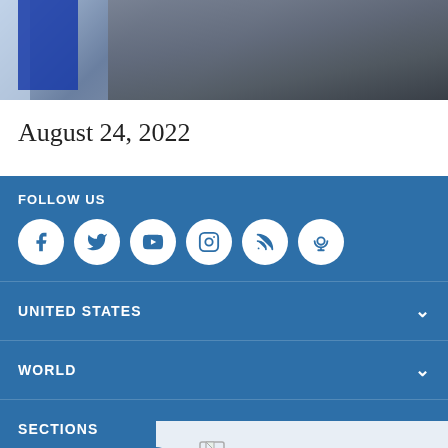[Figure (photo): Top portion of an image showing a dark stormy sky with a flag or banner with blue color on the left side]
August 24, 2022
FOLLOW US
[Figure (infographic): Row of social media icons: Facebook, Twitter, YouTube, Instagram, RSS, Podcast — white circles on blue background]
UNITED STATES
WORLD
SECTIONS
ABOUT THIS SITE
[Figure (logo): VOA logo with NEW SERIES label and 52 Documentary text on a light blue overlay panel]